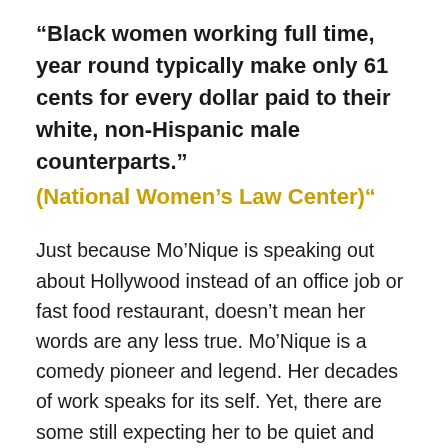“Black women working full time, year round typically make only 61 cents for every dollar paid to their white, non-Hispanic male counterparts.”
(National Women’s Law Center)“
Just because Mo’Nique is speaking out about Hollywood instead of an office job or fast food restaurant, doesn’t mean her words are any less true. Mo’Nique is a comedy pioneer and legend. Her decades of work speaks for its self. Yet, there are some still expecting her to be quiet and “grateful” as if she’s just some novice off the street.